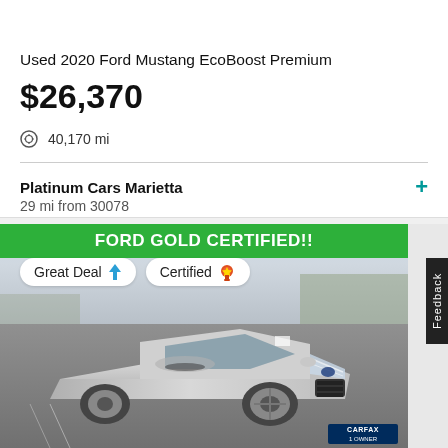[Figure (photo): Partial top view of a silver Ford Mustang car photo (cropped)]
Used 2020 Ford Mustang EcoBoost Premium
$26,370
40,170 mi
Platinum Cars Marietta
29 mi from 30078
[Figure (photo): Silver 2020 Ford Mustang EcoBoost coupe parked in a lot, front three-quarter view, with FORD GOLD CERTIFIED!! banner, Great Deal and Certified badges, and CARFAX 1 Owner logo]
FORD GOLD CERTIFIED!!
Great Deal ↑
Certified 🏅